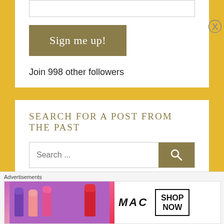Sign me up!
Join 998 other followers
SEARCH FOR A POST FROM THE PAST
Search ...
FOLLOW ME ON TWITTER
Advertisements
[Figure (photo): MAC Cosmetics advertisement showing colorful lipsticks with MAC logo and SHOP NOW button]